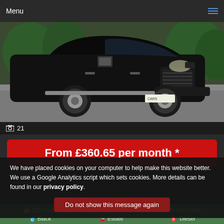Menu
[Figure (photo): Black Land Rover Discovery SUV parked on a driveway, front three-quarter view, with trees in background]
21
From £360.65 per month *
We have placed cookies on your computer to help make this website better. We use a Google Analytics script which sets cookies. More details can be found in our privacy policy.
Do not show this message again
2014 (14)    94,324 miles    Automatic
Black    Estate    Diesel